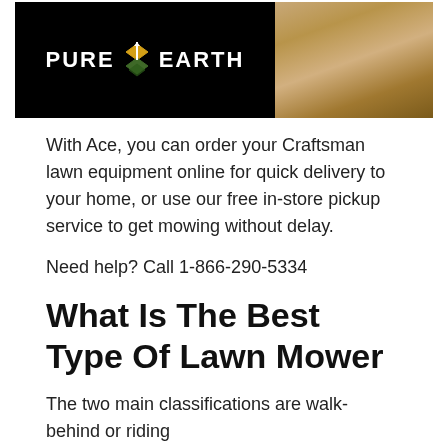[Figure (logo): Pure Earth logo banner on black background with diamond/arrow icon, alongside a photo of hands in sawdust/soil]
With Ace, you can order your Craftsman lawn equipment online for quick delivery to your home, or use our free in-store pickup service to get mowing without delay.
Need help? Call 1-866-290-5334
What Is The Best Type Of Lawn Mower
The two main classifications are walk-behind or riding
[Figure (infographic): Advertisement for Leesburg Premium Outlets: Save Up to 65%, with circular logo and direction arrow icon]